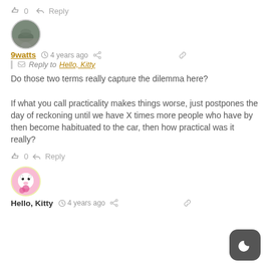👍 0  ➤ Reply
[Figure (photo): Circular avatar showing an outdoor scene with trees]
9watts  🕐 4 years ago  🔗 Reply to Hello, Kitty
Do those two terms really capture the dilemma here?

If what you call practicality makes things worse, just postpones the day of reckoning until we have X times more people who have by then become habituated to the car, then how practical was it really?
👍 0  ➤ Reply
[Figure (illustration): Circular avatar with Hello Kitty illustration on pink background]
Hello, Kitty  🕐 4 years ago